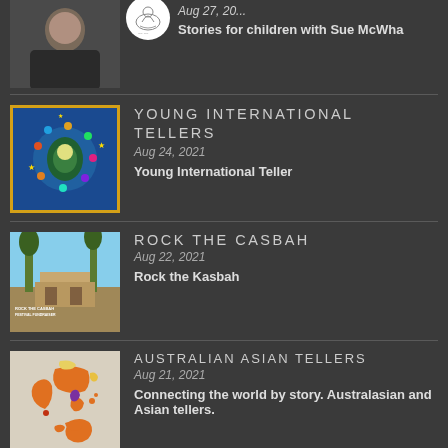[Figure (photo): Person photo thumbnail (partial, top of page)]
Aug 27, 20...
Stories for children with Sue McWha
[Figure (illustration): Colorful illustration of diverse children around a globe with yellow border]
YOUNG INTERNATIONAL TELLERS
Aug 24, 2021
Young International Teller
[Figure (photo): Photo of a city rooftop scene with palm trees, labeled Rock the Casbah Festival Fundraiser]
ROCK THE CASBAH
Aug 22, 2021
Rock the Kasbah
[Figure (map): Map of Asia-Pacific region with countries colored in orange, red, and purple]
AUSTRALIAN ASIAN TELLERS
Aug 21, 2021
Connecting the world by story. Australasian and Asian tellers.